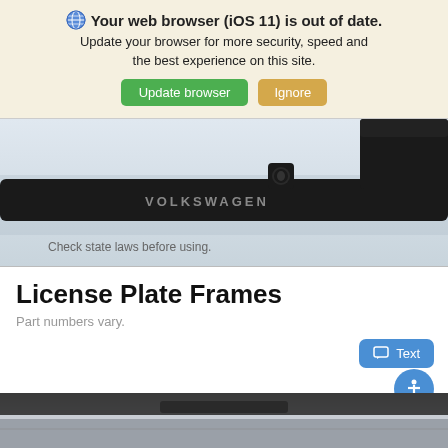[Figure (screenshot): Browser update notification banner with globe icon, bold warning text, and two buttons: 'Update browser' (green) and 'Ignore' (tan/yellow)]
[Figure (photo): Close-up photo of a black Volkswagen license plate frame on a light gray background with 'Check state laws before using.' text below the frame]
License Plate Frames
Part numbers vary.
[Figure (screenshot): Blue 'Text' chat button and accessibility icon (blue circle with person figure) overlapping in the bottom right]
[Figure (photo): Bottom portion of a car showing roof/trunk area in dark/silver colors, partially visible]